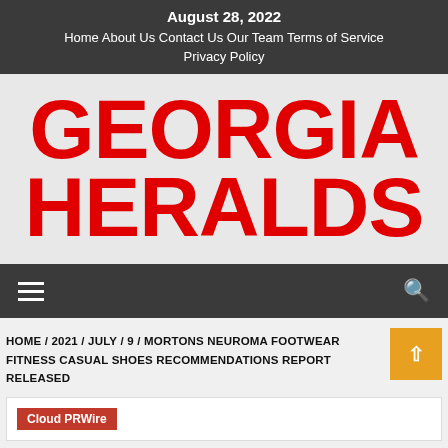August 28, 2022 | Home | About Us | Contact Us | Our Team | Terms of Service | Privacy Policy
[Figure (logo): Georgia Heralds logo in large bold red text on light gray background]
Navigation menu bar with hamburger icon and search icon
HOME / 2021 / JULY / 9 / MORTONS NEUROMA FOOTWEAR FITNESS CASUAL SHOES RECOMMENDATIONS REPORT RELEASED
[Figure (other): Cloud PRWire badge/label in red]